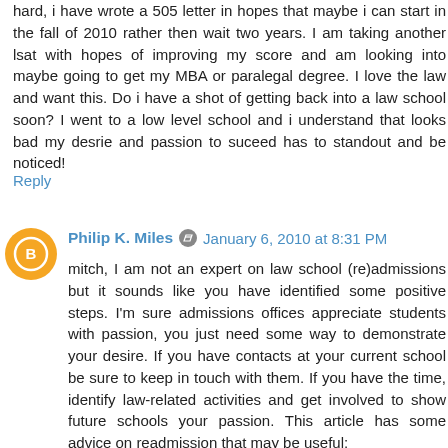hard, i have wrote a 505 letter in hopes that maybe i can start in the fall of 2010 rather then wait two years. I am taking another lsat with hopes of improving my score and am looking into maybe going to get my MBA or paralegal degree. I love the law and want this. Do i have a shot of getting back into a law school soon? I went to a low level school and i understand that looks bad my desrie and passion to suceed has to standout and be noticed!
Reply
Philip K. Miles
January 6, 2010 at 8:31 PM
mitch, I am not an expert on law school (re)admissions but it sounds like you have identified some positive steps. I'm sure admissions offices appreciate students with passion, you just need some way to demonstrate your desire. If you have contacts at your current school be sure to keep in touch with them. If you have the time, identify law-related activities and get involved to show future schools your passion. This article has some advice on readmission that may be useful: http://www.lawcrossing.com/article/1346/Coping-with-Law...